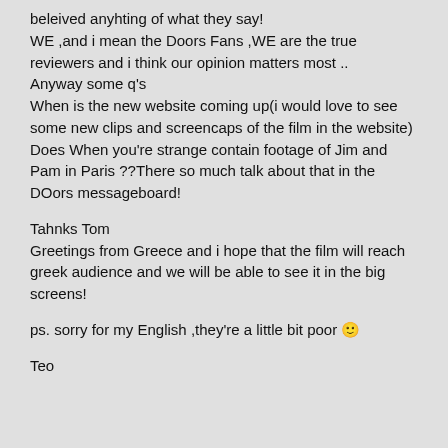beleived anyhting of what they say! WE ,and i mean the Doors Fans ,WE are the true reviewers and i think our opinion matters most .. Anyway some q's When is the new website coming up(i would love to see some new clips and screencaps of the film in the website) Does When you're strange contain footage of Jim and Pam in Paris ??There so much talk about that in the DOors messageboard!
Tahnks Tom
Greetings from Greece and i hope that the film will reach greek audience and we will be able to see it in the big screens!
ps. sorry for my English ,they're a little bit poor 🙂
Teo